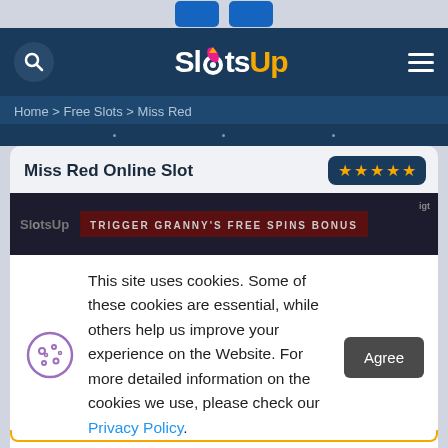SlotsUp
Home > Free Slots > Miss Red
Miss Red Online Slot
[Figure (screenshot): Miss Red slot game preview showing SlotsUp logo and 'TRIGGER GRANNY'S FREE SPINS BONUS' banner on dark background with IGT badge]
This site uses cookies. Some of these cookies are essential, while others help us improve your experience on the Website. For more detailed information on the cookies we use, please check our Privacy Policy.